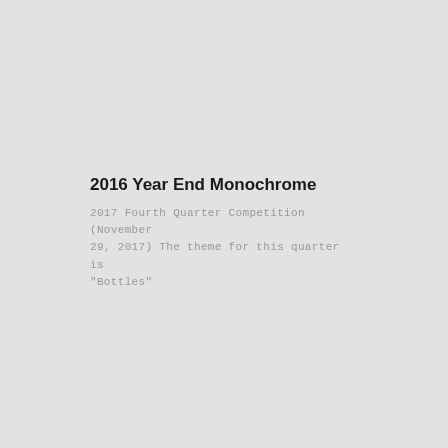2016 Year End Monochrome
2017 Fourth Quarter Competition (November 29, 2017) The theme for this quarter is "Bottles"